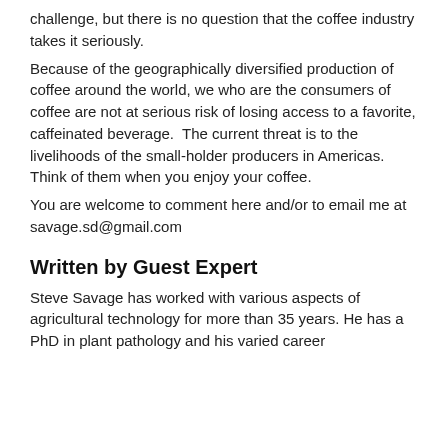challenge, but there is no question that the coffee industry takes it seriously.
Because of the geographically diversified production of coffee around the world, we who are the consumers of coffee are not at serious risk of losing access to a favorite, caffeinated beverage.  The current threat is to the livelihoods of the small-holder producers in Americas.  Think of them when you enjoy your coffee.
You are welcome to comment here and/or to email me at savage.sd@gmail.com
Written by Guest Expert
Steve Savage has worked with various aspects of agricultural technology for more than 35 years. He has a PhD in plant pathology and his varied career